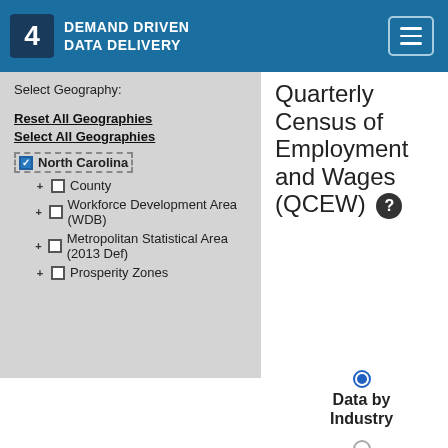4 DEMAND DRIVEN DATA DELIVERY
Select Geography:
Reset All Geographies
Select All Geographies
North Carolina (checked)
+ County
+ Workforce Development Area (WDB)
+ Metropolitan Statistical Area (2013 Def)
+ Prosperity Zones
Quarterly Census of Employment and Wages (QCEW)
Data by Industry
Industry by Size